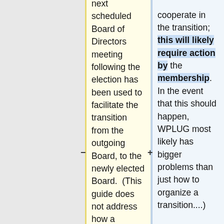next scheduled Board of Directors meeting following the election has been used to facilitate the transition from the outgoing Board, to the newly elected Board.  (This guide does not address how a transition would be organized if the membership should dissolve the Board pursuant to section 4.6 of the ByLaws, and the outgoing board
cooperate in the transition; this will likely require action by the membership.  In the event that this should happen, WPLUG most likely has bigger problems than just how to organize a transition....)